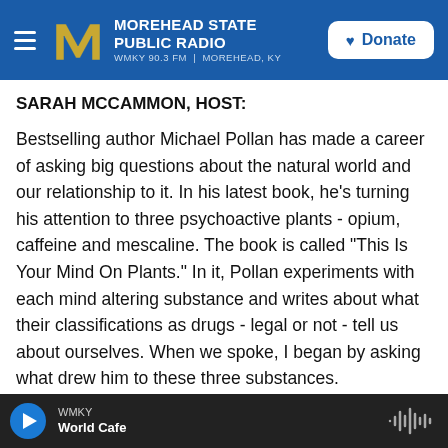MOREHEAD STATE PUBLIC RADIO — WMKY 90.3 FM | MOREHEAD, KY — Donate
SARAH MCCAMMON, HOST:
Bestselling author Michael Pollan has made a career of asking big questions about the natural world and our relationship to it. In his latest book, he's turning his attention to three psychoactive plants - opium, caffeine and mescaline. The book is called "This Is Your Mind On Plants." In it, Pollan experiments with each mind altering substance and writes about what their classifications as drugs - legal or not - tell us about ourselves. When we spoke, I began by asking what drew him to these three substances.
WMKY — World Cafe